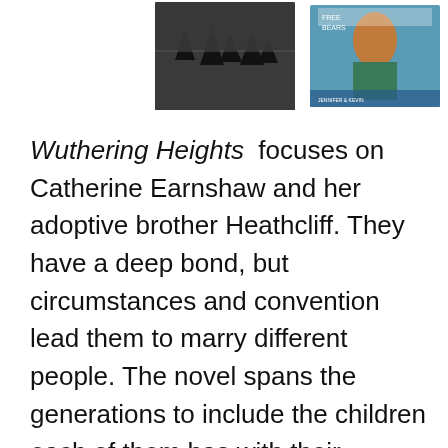[Figure (photo): Two book covers partially visible at the top of the page. The left cover appears to be a dark, moody landscape (likely Wuthering Heights). The right cover is a colorful image with a person.]
Wuthering Heights focuses on Catherine Earnshaw and her adoptive brother Heathcliff. They have a deep bond, but circumstances and convention lead them to marry different people. The novel spans the generations to include the children each of them has with their respective spouses. It is a love story - wildly passionate and largely unfulfilled - but it is also a story of revenge, of class, and of a highly...